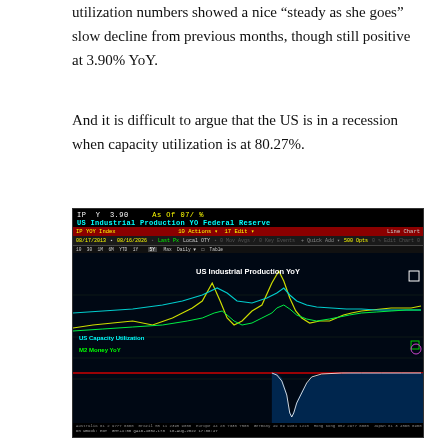utilization numbers showed a nice “steady as she goes” slow decline from previous months, though still positive at 3.90% YoY.
And it is difficult to argue that the US is in a recession when capacity utilization is at 80.27%.
[Figure (line-chart): Bloomberg terminal screenshot showing US Industrial Production YoY (green line), US Capacity Utilization (cyan line), and M2 Money YoY (green line) over time. Header shows IP Y 3.90 As Of 07/%. Red horizontal reference line visible. Chart shows sharp dip and recovery pattern.]